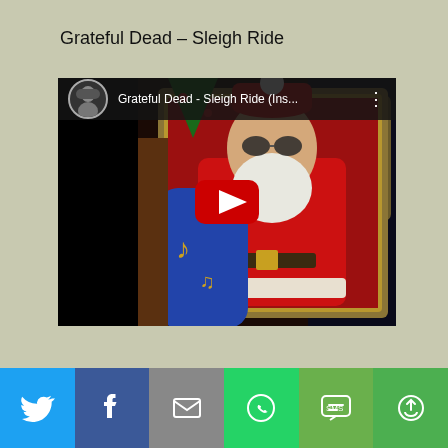Grateful Dead – Sleigh Ride
[Figure (screenshot): YouTube video embed showing 'Grateful Dead - Sleigh Ride (Ins...)' with a Santa Claus illustration as thumbnail, black side bars, avatar, video title bar at top, and red YouTube play button in center]
[Figure (infographic): Social media share bar with six buttons: Twitter (blue), Facebook (dark blue), Email (grey), WhatsApp (green), SMS (green), and More/share (green)]